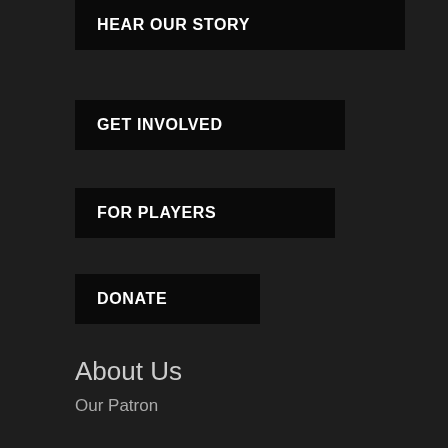HEAR OUR STORY
GET INVOLVED
FOR PLAYERS
DONATE
About Us
Our Patron
History
Our Achievements
Our Hall of Fame
Our Volunteers